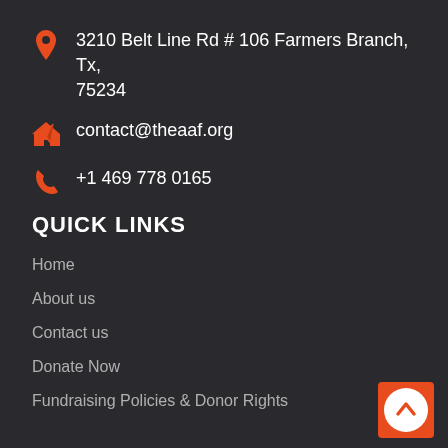3210 Belt Line Rd # 106 Farmers Branch, Tx, 75234
contact@theaaf.org
+1 469 778 0165
QUICK LINKS
Home
About us
Contact us
Donate Now
Fundraising Policies & Donor Rights